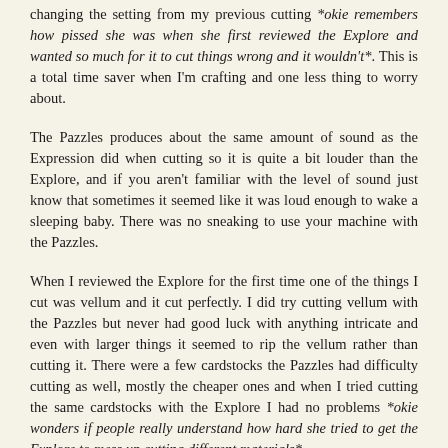changing the setting from my previous cutting *okie remembers how pissed she was when she first reviewed the Explore and wanted so much for it to cut things wrong and it wouldn't*. This is a total time saver when I'm crafting and one less thing to worry about.
The Pazzles produces about the same amount of sound as the Expression did when cutting so it is quite a bit louder than the Explore, and if you aren't familiar with the level of sound just know that sometimes it seemed like it was loud enough to wake a sleeping baby. There was no sneaking to use your machine with the Pazzles.
When I reviewed the Explore for the first time one of the things I cut was vellum and it cut perfectly. I did try cutting vellum with the Pazzles but never had good luck with anything intricate and even with larger things it seemed to rip the vellum rather than cutting it. There were a few cardstocks the Pazzles had difficulty cutting as well, mostly the cheaper ones and when I tried cutting the same cardstocks with the Explore I had no problems *okie wonders if people really understand how hard she tried to get the Explore to mess up cutting different materials*.